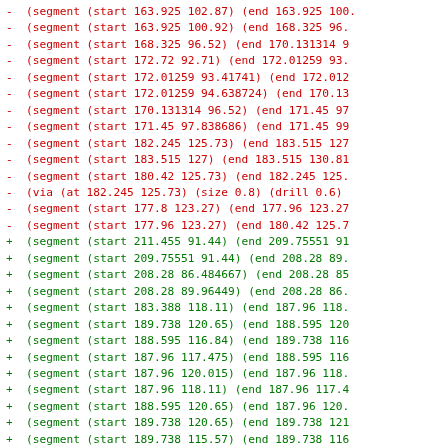- (segment (start 163.925 102.87) (end 163.925 100.
- (segment (start 163.925 100.92) (end 168.325 96.
- (segment (start 168.325 96.52) (end 170.131314 9
- (segment (start 172.72 92.71) (end 172.01259 93.
- (segment (start 172.01259 93.41741) (end 172.012
- (segment (start 172.01259 94.638724) (end 170.13
- (segment (start 170.131314 96.52) (end 171.45 97
- (segment (start 171.45 97.838686) (end 171.45 99
- (segment (start 182.245 125.73) (end 183.515 127
- (segment (start 183.515 127) (end 183.515 130.81
- (segment (start 180.42 125.73) (end 182.245 125.
- (via (at 182.245 125.73) (size 0.8) (drill 0.6)
- (segment (start 177.8 123.27) (end 177.96 123.27
- (segment (start 177.96 123.27) (end 180.42 125.7
+ (segment (start 211.455 91.44) (end 209.75551 91
+ (segment (start 209.75551 91.44) (end 208.28 89.
+ (segment (start 208.28 86.484667) (end 208.28 85
+ (segment (start 208.28 89.96449) (end 208.28 86.
+ (segment (start 183.388 118.11) (end 187.96 118.
+ (segment (start 189.738 120.65) (end 188.595 120
+ (segment (start 188.595 116.84) (end 189.738 116
+ (segment (start 187.96 117.475) (end 188.595 116
+ (segment (start 187.96 120.015) (end 187.96 118.
+ (segment (start 187.96 118.11) (end 187.96 117.4
+ (segment (start 188.595 120.65) (end 187.96 120.
+ (segment (start 189.738 120.65) (end 189.738 121
+ (segment (start 189.738 115.57) (end 189.738 116
+ (segment (start 193.04 116.84) (end 191.77 118.1
+ (segment (start 191.77 118.11) (end 189.738 118.
+ (segment (start 193.04 113.03) (end 193.04 116.8